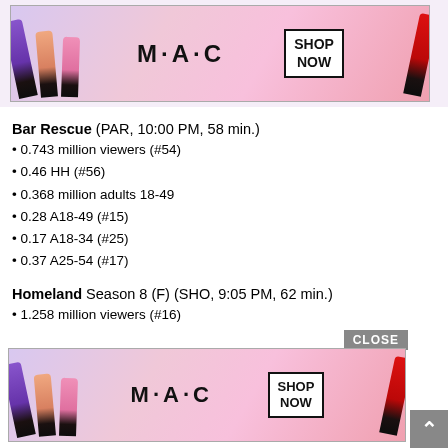[Figure (photo): MAC cosmetics advertisement banner showing lipsticks in purple, peach, and pink with MAC logo and SHOP NOW button, red lipstick on right]
Bar Rescue (PAR, 10:00 PM, 58 min.)
0.743 million viewers (#54)
0.46 HH (#56)
0.368 million adults 18-49
0.28 A18-49 (#15)
0.17 A18-34 (#25)
0.37 A25-54 (#17)
Homeland Season 8 (F) (SHO, 9:05 PM, 62 min.)
1.258 million viewers (#16)
0.72 HH (#21)
0.305 million adults 18-49
0.24 A18-49 (#24)
0.08 A18-34 (#72)
0.38 A25-54 (#15)
Penny Dreadful: City of Angels Season 1 (P) (SHO, 10:10 PM, 67 min.)
0.148 million viewers
[Figure (photo): MAC cosmetics advertisement banner (second instance) showing lipsticks in purple, peach, and pink with MAC logo and SHOP NOW button, red lipstick on right, with CLOSE button]